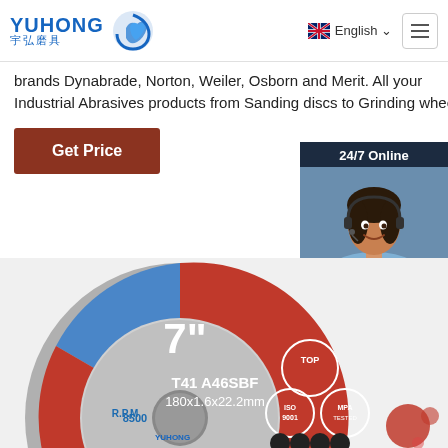YUHONG 宇弘磨具 | English
brands Dynabrade, Norton, Weiler, Osborn and Merit. All your Industrial Abrasives products from Sanding discs to Grinding wheels
Get Price
[Figure (photo): Customer support representative smiling, wearing headset, with 24/7 Online and Click here for free chat sidebar widget, and QUOTATION orange button]
[Figure (photo): Red and blue 7-inch grinding/cutting wheel labeled T41 A46SBF 180x1.6x22.2mm, R.P.M 8500, with ISO 9001, MPA TESTED, and TOP quality seals]